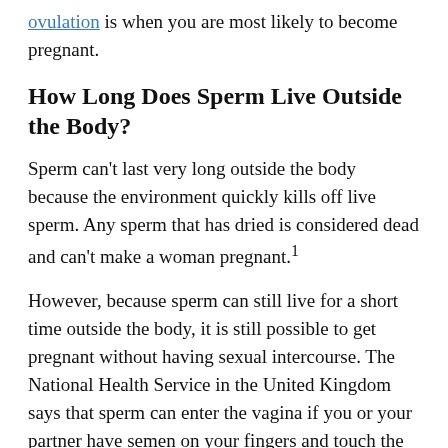ovulation is when you are most likely to become pregnant.
How Long Does Sperm Live Outside the Body?
Sperm can't last very long outside the body because the environment quickly kills off live sperm. Any sperm that has dried is considered dead and can't make a woman pregnant.¹
However, because sperm can still live for a short time outside the body, it is still possible to get pregnant without having sexual intercourse. The National Health Service in the United Kingdom says that sperm can enter the vagina if you or your partner have semen on your fingers and touch the vagina.⁵ Even though the chances of